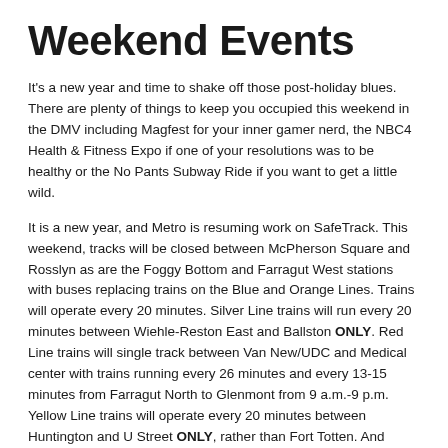Weekend Events
It's a new year and time to shake off those post-holiday blues. There are plenty of things to keep you occupied this weekend in the DMV including Magfest for your inner gamer nerd, the NBC4 Health & Fitness Expo if one of your resolutions was to be healthy or the No Pants Subway Ride if you want to get a little wild.
It is a new year, and Metro is resuming work on SafeTrack. This weekend, tracks will be closed between McPherson Square and Rosslyn as are the Foggy Bottom and Farragut West stations with buses replacing trains on the Blue and Orange Lines. Trains will operate every 20 minutes. Silver Line trains will run every 20 minutes between Wiehle-Reston East and Ballston ONLY. Red Line trains will single track between Van New/UDC and Medical center with trains running every 26 minutes and every 13-15 minutes from Farragut North to Glenmont from 9 a.m.-9 p.m. Yellow Line trains will operate every 20 minutes between Huntington and U Street ONLY, rather than Fort Totten. And Green Line trains will single track between Fort Totten and